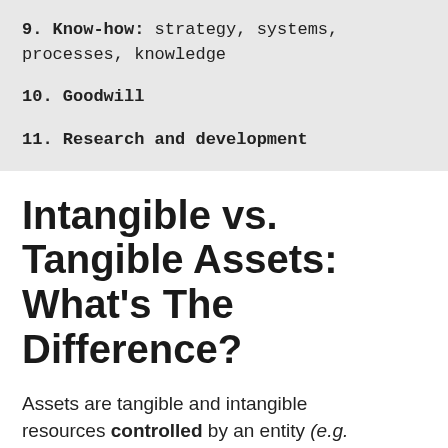9. Know-how: strategy, systems, processes, knowledge
10. Goodwill
11. Research and development
Intangible vs. Tangible Assets: What's The Difference?
Assets are tangible and intangible resources controlled by an entity (e.g.